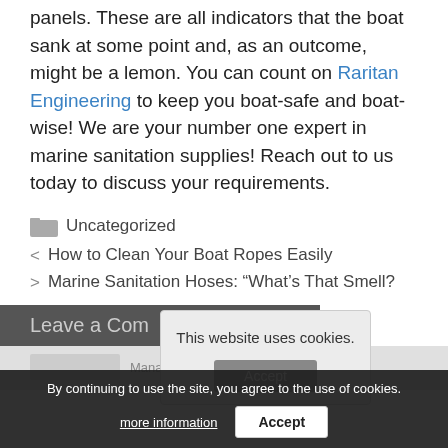panels. These are all indicators that the boat sank at some point and, as an outcome, might be a lemon. You can count on Raritan Engineering to keep you boat-safe and boat-wise! We are your number one expert in marine sanitation supplies! Reach out to us today to discuss your requirements.
Uncategorized
< How to Clean Your Boat Ropes Easily
> Marine Sanitation Hoses: “What’s That Smell?
Leave a Com
This website uses cookies.
By continuing to use the site, you agree to the use of cookies.
more information
Accept